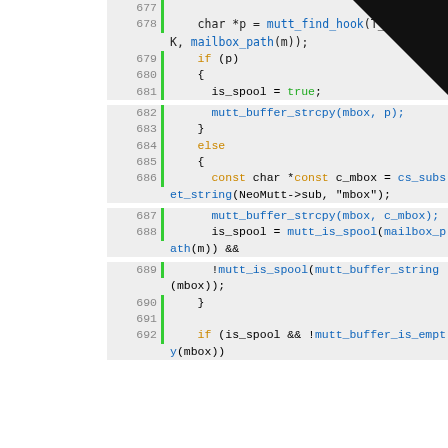[Figure (screenshot): Source code viewer showing C code lines 677-692 with line numbers, green vertical bar separator, syntax highlighting (orange keywords, blue function names, green 'true'), on light background. Top-right corner is obscured by a dark triangular overlay.]